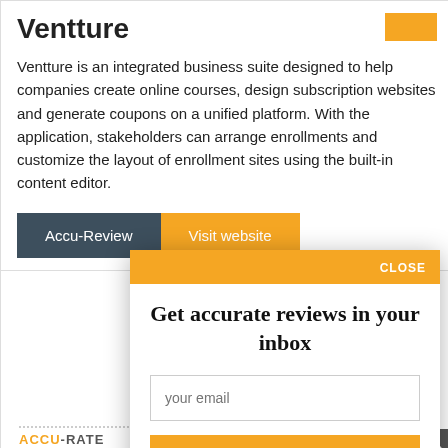Ventture
Ventture is an integrated business suite designed to help companies create online courses, design subscription websites and generate coupons on a unified platform. With the application, stakeholders can arrange enrollments and customize the layout of enrollment sites using the built-in content editor.
Accu-Review | Visit website
CLOSE
Get accurate reviews in your inbox
your email
Subscribe to newsletter
ACCU-RATE